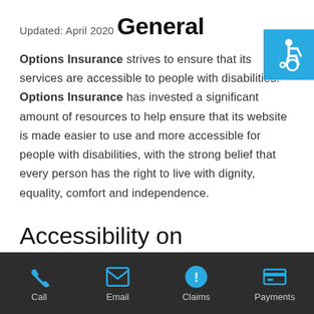Updated: April 2020
General
[Figure (illustration): Wheelchair accessibility icon — white figure in wheelchair on blue background]
Options Insurance strives to ensure that its services are accessible to people with disabilities. Options Insurance has invested a significant amount of resources to help ensure that its website is made easier to use and more accessible for people with disabilities, with the strong belief that every person has the right to live with dignity, equality, comfort and independence.
Accessibility on
Call  Email  Claims  Payments